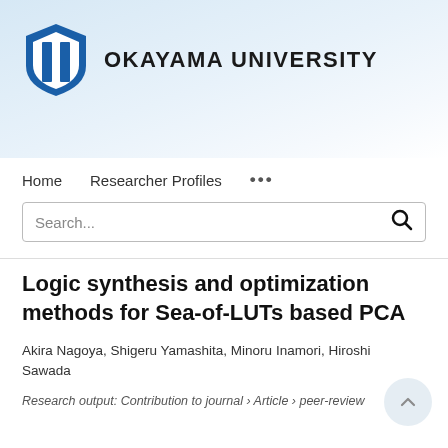[Figure (logo): Okayama University logo with blue shield icon and bold uppercase text OKAYAMA UNIVERSITY]
Home   Researcher Profiles   ...
Search...
Logic synthesis and optimization methods for Sea-of-LUTs based PCA
Akira Nagoya, Shigeru Yamashita, Minoru Inamori, Hiroshi Sawada
Research output: Contribution to journal › Article › peer-review